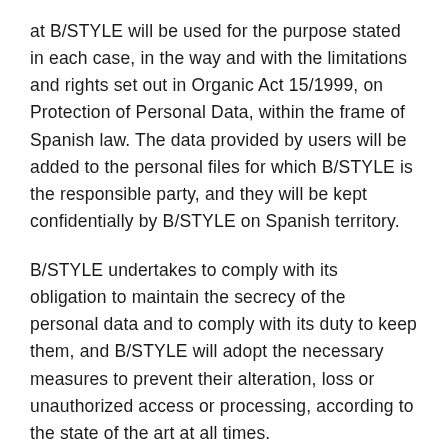at B/STYLE will be used for the purpose stated in each case, in the way and with the limitations and rights set out in Organic Act 15/1999, on Protection of Personal Data, within the frame of Spanish law. The data provided by users will be added to the personal files for which B/STYLE is the responsible party, and they will be kept confidentially by B/STYLE on Spanish territory.
B/STYLE undertakes to comply with its obligation to maintain the secrecy of the personal data and to comply with its duty to keep them, and B/STYLE will adopt the necessary measures to prevent their alteration, loss or unauthorized access or processing, according to the state of the art at all times.
The user is the only party responsible for the veracity and correctness of the data provided to B/STYLE, and the latter does not assume any liability for the lack of veracity or correctness of such data.